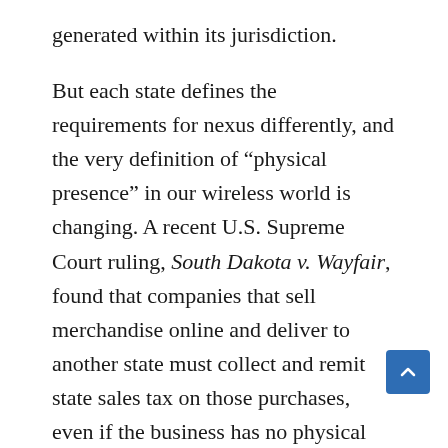generated within its jurisdiction.
But each state defines the requirements for nexus differently, and the very definition of “physical presence” in our wireless world is changing. A recent U.S. Supreme Court ruling, South Dakota v. Wayfair, found that companies that sell merchandise online and deliver to another state must collect and remit state sales tax on those purchases, even if the business has no physical presence in the state. This ruling may encourage states to range even farther in search of every last tax dollar they can find.
Has your firm inadvertently established nexus in another state? If so, have you overlooked reporting income and paying taxes in that state? Unlike many